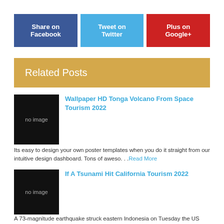Share on Facebook
Tweet on Twitter
Plus on Google+
Related Posts
[Figure (other): No image placeholder black square]
Wallpaper HD Tonga Volcano From Space Tourism 2022
Its easy to design your own poster templates when you do it straight from our intuitive design dashboard. Tons of aweso. . .Read More
[Figure (other): No image placeholder black square]
If A Tsunami Hit California Tourism 2022
A 73-magnitude earthquake struck eastern Indonesia on Tuesday the US Geological Survey said causing panic but no deaths. . .Read More
[Figure (other): No image placeholder black square, partial view]
Tsunami California Arrival Time